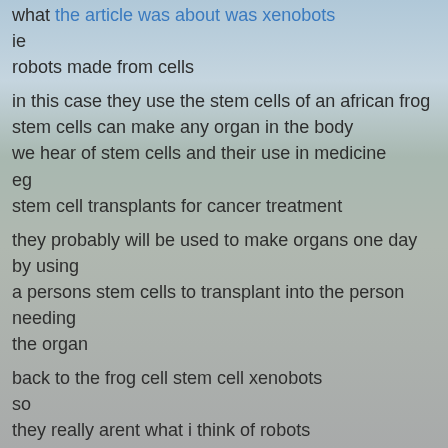what the article was about was xenobots ie robots made from cells
in this case they use the stem cells of an african frog stem cells can make any organ in the body we hear of stem cells and their use in medicine eg stem cell transplants for cancer treatment
they probably will be used to make organs one day by using a persons stem cells to transplant into the person needing the organ
back to the frog cell stem cell xenobots so they really arent what i think of robots
these xenobots are made from these stem cells thrown in a petri dish these cells form a c shaped xenobot that looks like pac man as it zooms around the petri dish